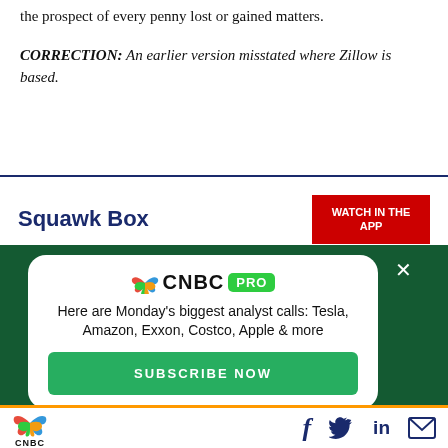the prospect of every penny lost or gained matters.
CORRECTION: An earlier version misstated where Zillow is based.
Squawk Box
[Figure (screenshot): CNBC PRO promotional popup ad with text: Here are Monday's biggest analyst calls: Tesla, Amazon, Exxon, Costco, Apple & more. Subscribe Now button. Dark green background. White rounded card overlay.]
CNBC logo with social media icons: Facebook, Twitter, LinkedIn, Email